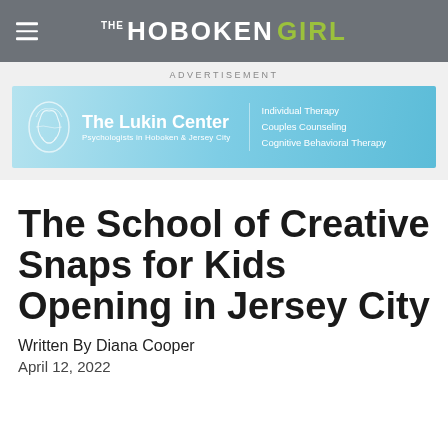THE HOBOKEN GIRL
[Figure (other): Advertisement banner for The Lukin Center, Psychologists in Hoboken & Jersey City. Services: Individual Therapy, Couples Counseling, Cognitive Behavioral Therapy.]
ADVERTISEMENT
The School of Creative Snaps for Kids Opening in Jersey City
Written By Diana Cooper
April 12, 2022